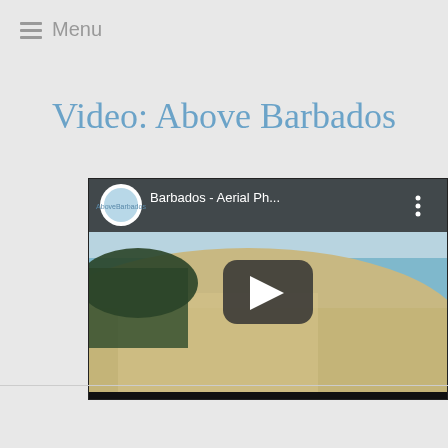Menu
Video: Above Barbados
[Figure (screenshot): Embedded YouTube video thumbnail showing 'Barbados - Aerial Ph...' with a circular channel avatar logo, video title, more options button, and a play button overlay on an aerial beach scene background.]